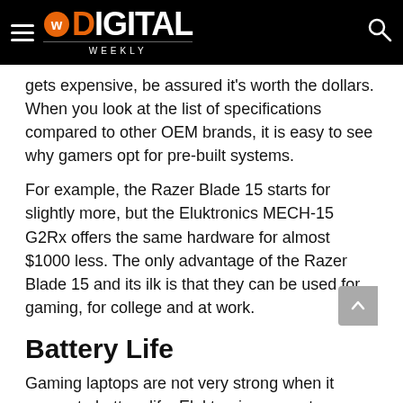Digital Weekly
gets expensive, be assured it's worth the dollars. When you look at the list of specifications compared to other OEM brands, it is easy to see why gamers opt for pre-built systems.
For example, the Razer Blade 15 starts for slightly more, but the Eluktronics MECH-15 G2Rx offers the same hardware for almost $1000 less. The only advantage of the Razer Blade 15 and its ilk is that they can be used for gaming, for college and at work.
Battery Life
Gaming laptops are not very strong when it comes to battery life. Eluktronics are not exceptional, most of their laptops max at 4 hours, which is quite OK for the category.